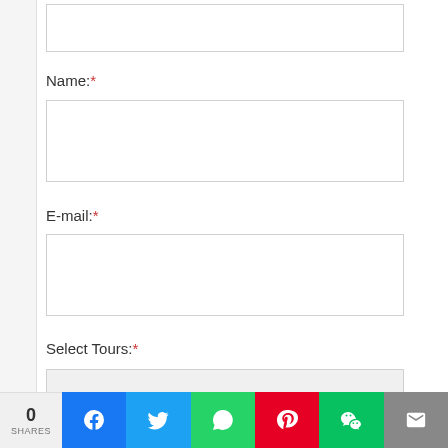Name:*
E-mail:*
Select Tours:*
All Tours
We use cookies to give you the best service on our site. By continuing to use the site you consent to our Privacy Policy.
Read More
ACCEPT
0 SHARES  [Facebook] [Twitter] [WhatsApp] [Pinterest] [WeChat] [Email]